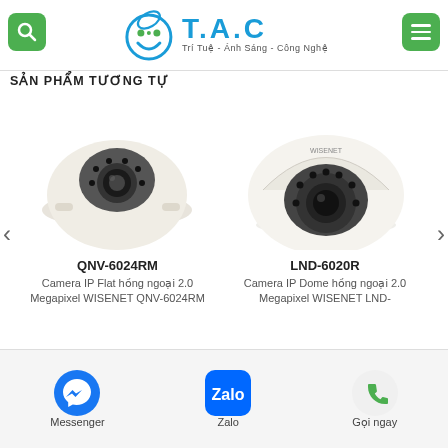[Figure (logo): T.A.C logo with tagline Trí Tuệ - Ánh Sáng - Công Nghệ, with search and menu green buttons]
SẢN PHẨM TƯƠNG TỰ
[Figure (photo): QNV-6024RM flat dome IP camera, white, shown from front-side angle]
QNV-6024RM
Camera IP Flat hồng ngoại 2.0 Megapixel WISENET QNV-6024RM
[Figure (photo): LND-6020R dome IP camera, white, shown from front-side angle with WISENET branding]
LND-6020R
Camera IP Dome hồng ngoại 2.0 Megapixel WISENET LND-
[Figure (infographic): Bottom navigation bar with Messenger, Zalo, and Gọi ngay icons]